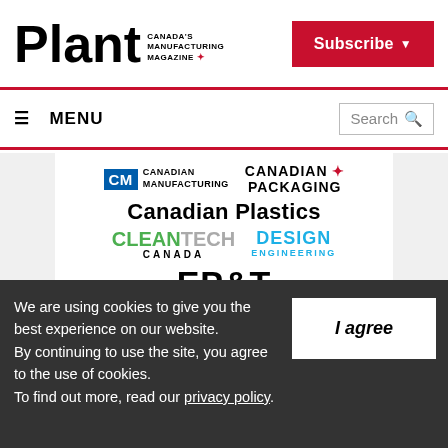Plant — Canada's Manufacturing Magazine | Subscribe | Menu | Search
[Figure (screenshot): Website screenshot showing Plant magazine header with Subscribe button, navigation menu, and a grid of related publication logos: Canadian Manufacturing, Canadian Packaging, Canadian Plastics, Cleantech Canada, Design Engineering, EP&T, Frasers, Process Equipment & Control News, and partial Manufacturing logo]
We are using cookies to give you the best experience on our website.
By continuing to use the site, you agree to the use of cookies.
To find out more, read our privacy policy.